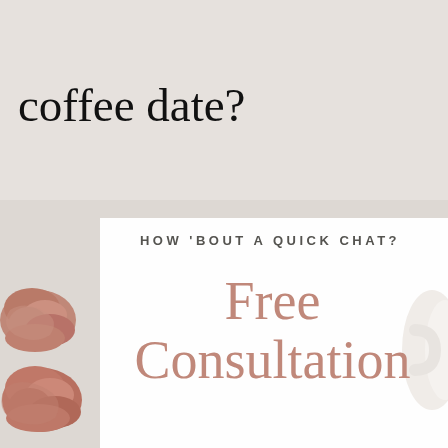[Figure (photo): Lifestyle flat-lay photo with light grey/beige background, dusty pink/mauve scrunchies on the left, and a white ceramic cup on the right]
coffee date?
HOW 'BOUT A QUICK CHAT?
Free Consultation